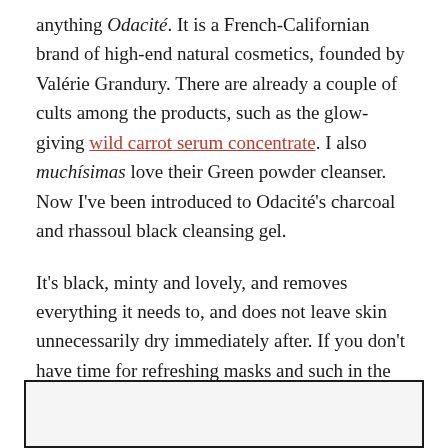anything Odacité. It is a French-Californian brand of high-end natural cosmetics, founded by Valérie Grandury. There are already a couple of cults among the products, such as the glow-giving wild carrot serum concentrate. I also muchísimas love their Green powder cleanser. Now I've been introduced to Odacité's charcoal and rhassoul black cleansing gel.
It's black, minty and lovely, and removes everything it needs to, and does not leave skin unnecessarily dry immediately after. If you don't have time for refreshing masks and such in the mornings (no-one has, I'm just kidding), using the cleanser makes you feel that you've done a bit of sheet-masking in the morning rush as well.
[Figure (photo): Partial image box visible at bottom of page, dark border with light grey interior, content cropped]